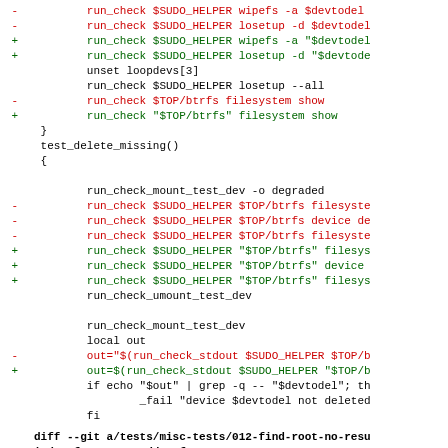Diff/patch code block showing git diff of shell script changes involving $SUDO_HELPER, wipefs, losetup, btrfs filesystem commands, and test_delete_missing function
diff --git a/tests/misc-tests/012-find-root-no-resu
index f4a57e76..6dd447f3 100755